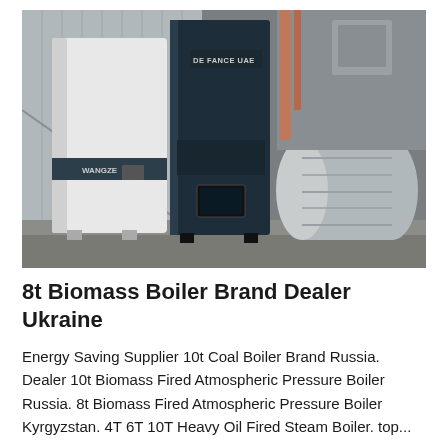[Figure (photo): Industrial boiler units in a facility. Two large vertical boilers — one dark navy/black and one white — are installed side by side in an industrial space. The dark boiler has a brand label reading 'DE FANCE UAE'. Metal pipes, cylindrical tanks and industrial equipment are visible in the background. The floor is concrete.]
8t Biomass Boiler Brand Dealer Ukraine
Energy Saving Supplier 10t Coal Boiler Brand Russia. Dealer 10t Biomass Fired Atmospheric Pressure Boiler Russia. 8t Biomass Fired Atmospheric Pressure Boiler Kyrgyzstan. 4T 6T 10T Heavy Oil Fired Steam Boiler. top...